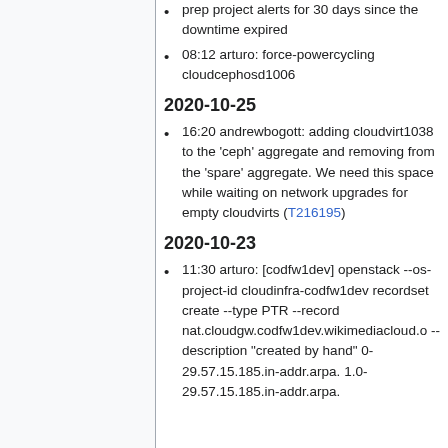prep project alerts for 30 days since the downtime expired
08:12 arturo: force-powercycling cloudcephosd1006
2020-10-25
16:20 andrewbogott: adding cloudvirt1038 to the 'ceph' aggregate and removing from the 'spare' aggregate. We need this space while waiting on network upgrades for empty cloudvirts (T216195)
2020-10-23
11:30 arturo: [codfw1dev] openstack --os-project-id cloudinfra-codfw1dev recordset create --type PTR --record nat.cloudgw.codfw1dev.wikimediacloud.o --description "created by hand" 0-29.57.15.185.in-addr.arpa. 1.0-29.57.15.185.in-addr.arpa.